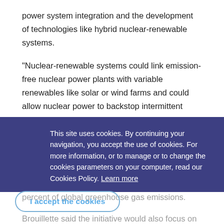power system integration and the development of technologies like hybrid nuclear-renewable systems.
“Nuclear-renewable systems could link emission-free nuclear power plants with variable renewables like solar or wind farms and could allow nuclear power to backstop intermittent generation,” Brouillette said during the launch at the Clean Energy Ministerial (CEM) in Copenhagen.
CEM is a global forum of 24 countries and the European Union which together account for 75 percent of global greenhouse gas emissions.
Brouillette said the initiative would also focus on the development of small modular reactors (SMR), which use existing or new
This site uses cookies. By continuing your navigation, you accept the use of cookies. For more information, or to manage or to change the cookies parameters on your computer, read our Cookies Policy. Learn more
I accept the cookies